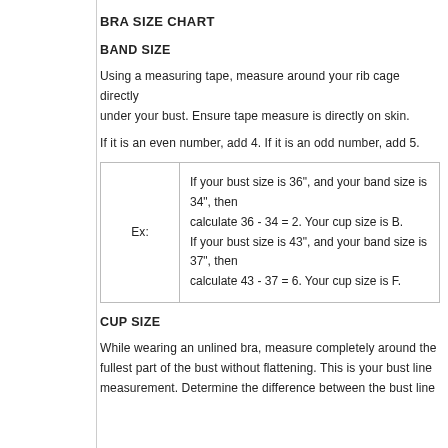BRA SIZE CHART
BAND SIZE
Using a measuring tape, measure around your rib cage directly under your bust. Ensure tape measure is directly on skin.
If it is an even number, add 4. If it is an odd number, add 5.
| Ex: | Examples |
| --- | --- |
| Ex: | If your bust size is 36", and your band size is 34", then calculate 36 - 34 = 2. Your cup size is B.
If your bust size is 43", and your band size is 37", then calculate 43 - 37 = 6. Your cup size is F. |
CUP SIZE
While wearing an unlined bra, measure completely around the fullest part of the bust without flattening. This is your bust line measurement. Determine the difference between the bust line